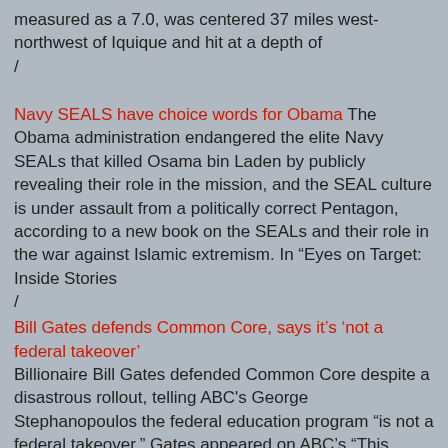measured as a 7.0, was centered 37 miles west-northwest of Iquique and hit at a depth of
/
Navy SEALS have choice words for Obama The Obama administration endangered the elite Navy SEALs that killed Osama bin Laden by publicly revealing their role in the mission, and the SEAL culture is under assault from a politically correct Pentagon, according to a new book on the SEALs and their role in the war against Islamic extremism. In “Eyes on Target: Inside Stories
/
Bill Gates defends Common Core, says it’s ‘not a federal takeover’ Billionaire Bill Gates defended Common Core despite a disastrous rollout, telling ABC's George Stephanopoulos the federal education program “is not a federal takeover.” Gates appeared on ABC’s “This Week” to shore up support for the program, which has come under attack from a diverse range of interest groups after a difficult rollout and low student test
/